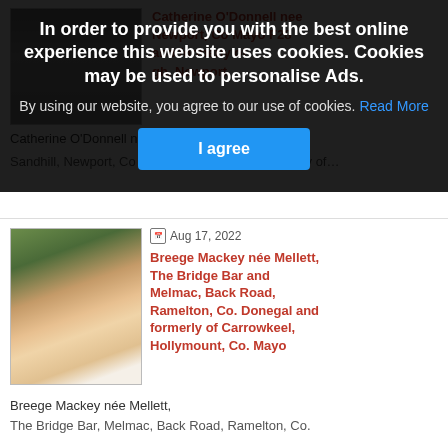[Figure (photo): Obituary photo of elderly woman, partially visible behind cookie banner]
Catherine O'Donnell nee Geraghty,
Sandhill, Newport, Co Mayo F28 VW97 and formerly of…
[Figure (photo): Portrait photo of Breege Mackey née Mellett, a woman with short blonde/grey hair wearing white]
Aug 17, 2022
Breege Mackey née Mellett, The Bridge Bar and Melmac, Back Road, Ramelton, Co. Donegal and formerly of Carrowkeel, Hollymount, Co. Mayo
Breege Mackey née Mellett,
The Bridge Bar, Melmac, Back Road, Ramelton, Co.
In order to provide you with the best online experience this website uses cookies. Cookies may be used to personalise Ads.
By using our website, you agree to our use of cookies. Read More
I agree